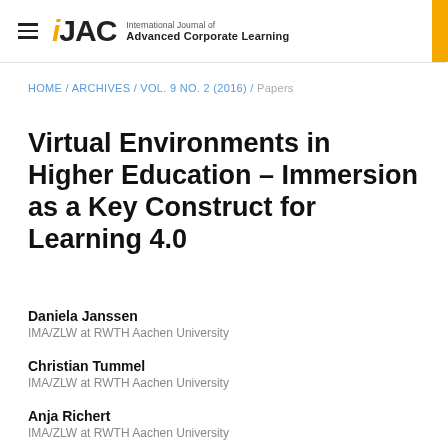iJAC – International Journal of Advanced Corporate Learning
HOME / ARCHIVES / VOL. 9 NO. 2 (2016) / Papers
Virtual Environments in Higher Education – Immersion as a Key Construct for Learning 4.0
Daniela Janssen
IMA/ZLW at RWTH Aachen University
Christian Tummel
IMA/ZLW at RWTH Aachen University
Anja Richert
IMA/ZLW at RWTH Aachen University